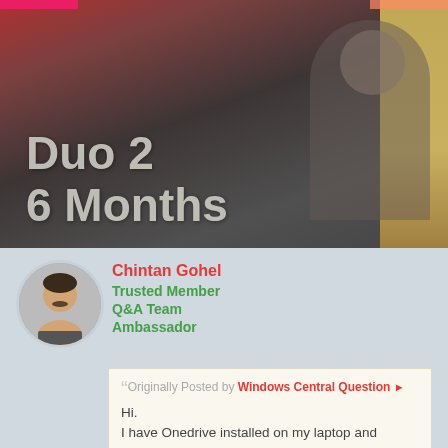[Figure (photo): Hero image showing a person holding a device, with overlaid text 'Duo 2 6 Months' in large grey letters on a dark background]
Duo 2
6 Months
Chintan Gohel
Trusted Member
Q&A Team
Ambassador
Originally Posted by Windows Central Question
Hi.
I have Onedrive installed on my laptop and therefore I have Onedrive drive showing up in my (my) computer, however the files shown here are completely different to the shown when I log into OneDrive via the web.